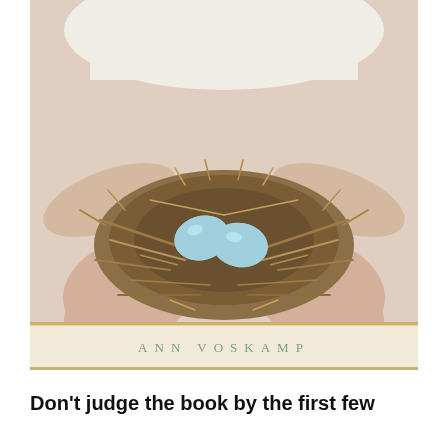[Figure (photo): Book cover showing two hands holding a bird's nest containing two light blue eggs. The author name 'ANN VOSKAMP' appears at the bottom of the cover in spaced serif lettering on a tan/cream colored bar.]
Don't judge the book by the first few